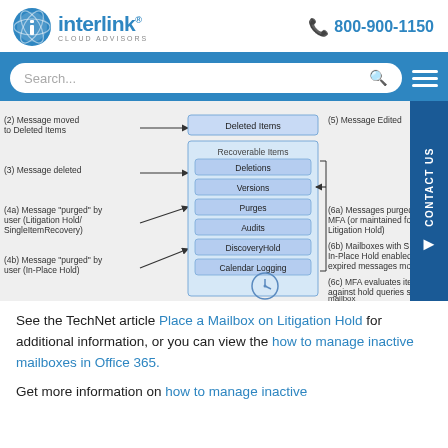Interlink Cloud Advisors | 800-900-1150
[Figure (screenshot): Search bar in blue navigation bar with hamburger menu icon]
[Figure (flowchart): Exchange mailbox Recoverable Items folder structure diagram showing message flow through Deleted Items, Recoverable Items (Deletions, Versions, Purges, Audits, DiscoveryHold, Calendar Logging) with numbered steps (2)-(6c) describing message moved to Deleted Items, deleted, purged by user with Litigation Hold/SingleItemRecovery, purged by user In-Place Hold, Message Edited, Messages purged by MFA, Mailboxes with SIR/In-Place Hold, MFA evaluates items against hold queries]
See the TechNet article Place a Mailbox on Litigation Hold for additional information, or you can view the how to manage inactive mailboxes in Office 365.
Get more information on how to manage inactive